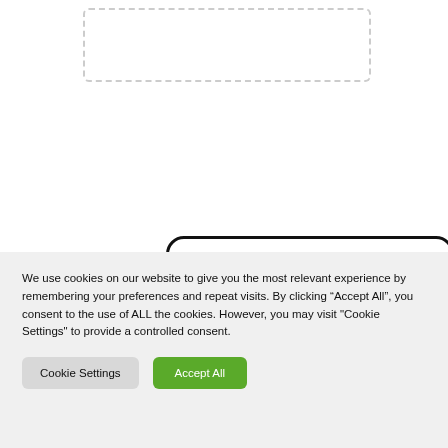[Figure (screenshot): Dashed-border input text area box]
Post Comment
We use cookies on our website to give you the most relevant experience by remembering your preferences and repeat visits. By clicking “Accept All”, you consent to the use of ALL the cookies. However, you may visit "Cookie Settings" to provide a controlled consent.
Cookie Settings
Accept All